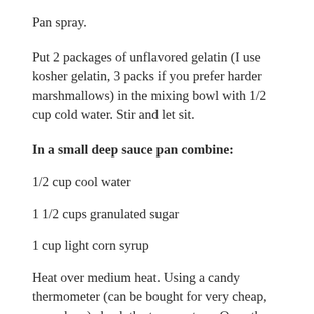Pan spray.
Put 2 packages of unflavored gelatin (I use kosher gelatin, 3 packs if you prefer harder marshmallows) in the mixing bowl with 1/2 cup cold water. Stir and let sit.
In a small deep sauce pan combine:
1/2 cup cool water
1 1/2 cups granulated sugar
1 cup light corn syrup
Heat over medium heat. Using a candy thermometer (can be bought for very cheap, any where) check the temperature. Once the syrup reached 240 F/ 115 C, take it off the heat, stir well and turn on the mixer for a few bl...